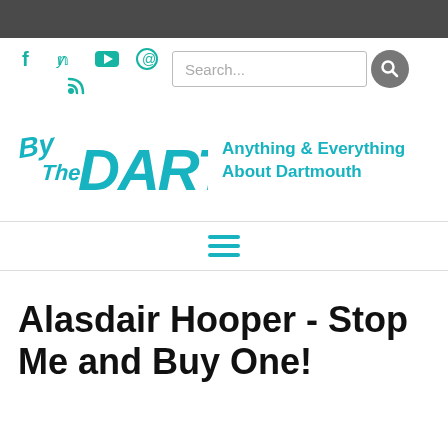[Figure (logo): By The DART logo with teal handwritten/graffiti style text, and social media icons (f, twitter, youtube, pinterest, RSS) in teal]
Search...
Alasdair Hooper - Stop Me and Buy One!